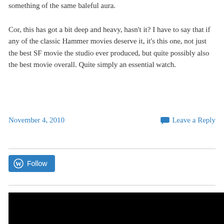something of the same baleful aura.
Cor, this has got a bit deep and heavy, hasn't it? I have to say that if any of the classic Hammer movies deserve it, it's this one, not just the best SF movie the studio ever produced, but quite possibly also the best movie overall. Quite simply an essential watch.
November 4, 2010   Leave a Reply
[Figure (other): WordPress Follow button widget]
[Figure (photo): Black image/video thumbnail at bottom of page]